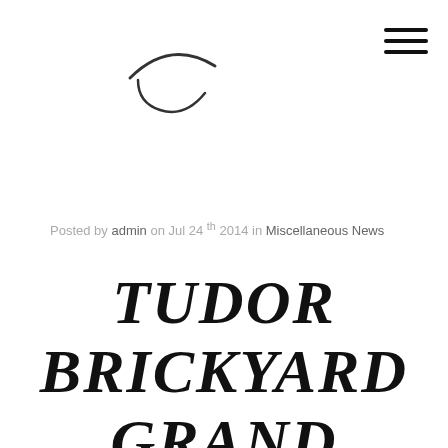[Figure (logo): Curved arc logo mark at top center of page]
[Figure (other): Hamburger menu icon (three horizontal lines) in top right corner]
Posted by admin on Jul 24th 2014 in Miscellaneous News
TUDOR BRICKYARD GRAND PRIX AT IMS